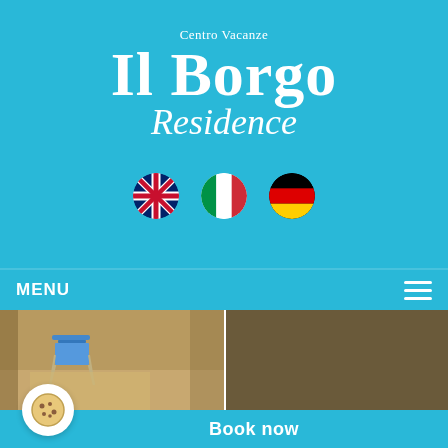[Figure (logo): Il Borgo Centro Vacanze Residence logo in white text on cyan/sky-blue background]
[Figure (infographic): Three circular flag icons: UK flag, Italian flag, German flag, displayed in a row for language selection]
MENU
[Figure (photo): Two side-by-side outdoor/indoor photos: left shows a blue folding chair on a terrace, right shows an outdoor dining table with a flower vase and green foliage]
Book now